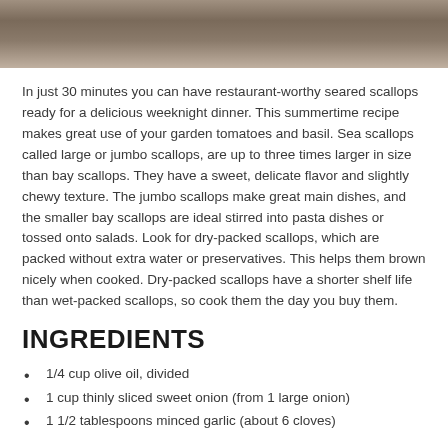[Figure (photo): Top portion of a dish photo showing seared scallops on a plate, cropped at top of page]
In just 30 minutes you can have restaurant-worthy seared scallops ready for a delicious weeknight dinner. This summertime recipe makes great use of your garden tomatoes and basil. Sea scallops called large or jumbo scallops, are up to three times larger in size than bay scallops. They have a sweet, delicate flavor and slightly chewy texture. The jumbo scallops make great main dishes, and the smaller bay scallops are ideal stirred into pasta dishes or tossed onto salads. Look for dry-packed scallops, which are packed without extra water or preservatives. This helps them brown nicely when cooked. Dry-packed scallops have a shorter shelf life than wet-packed scallops, so cook them the day you buy them.
INGREDIENTS
1/4 cup olive oil, divided
1 cup thinly sliced sweet onion (from 1 large onion)
1 1/2 tablespoons minced garlic (about 6 cloves)